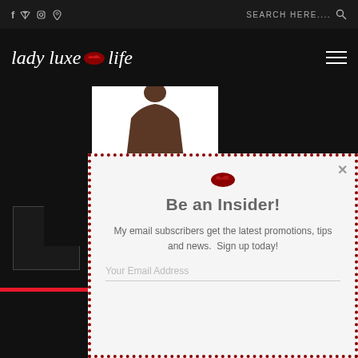Lady Luxe Life - social icons: f, twitter, instagram, pinterest; search bar; hamburger menu
[Figure (screenshot): Website screenshot of Lady Luxe Life blog showing a white dress product image and an email newsletter signup popup overlay with dotted red border. Popup shows a red lips icon, 'Be an Insider!' heading, descriptive text about email subscribers, and an email input field.]
Be an Insider!
My email subscribers get the latest promotions, tips and news.  Sign up today!